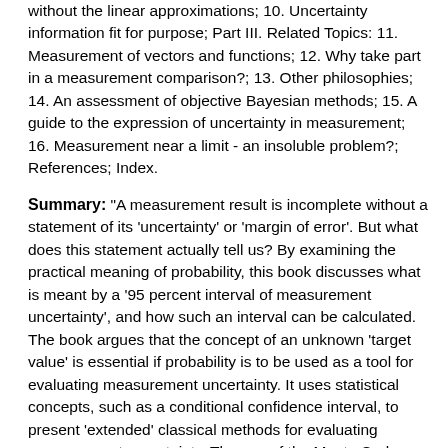without the linear approximations; 10. Uncertainty information fit for purpose; Part III. Related Topics: 11. Measurement of vectors and functions; 12. Why take part in a measurement comparison?; 13. Other philosophies; 14. An assessment of objective Bayesian methods; 15. A guide to the expression of uncertainty in measurement; 16. Measurement near a limit - an insoluble problem?; References; Index.
Summary: "A measurement result is incomplete without a statement of its 'uncertainty' or 'margin of error'. But what does this statement actually tell us? By examining the practical meaning of probability, this book discusses what is meant by a '95 percent interval of measurement uncertainty', and how such an interval can be calculated. The book argues that the concept of an unknown 'target value' is essential if probability is to be used as a tool for evaluating measurement uncertainty. It uses statistical concepts, such as a conditional confidence interval, to present 'extended' classical methods for evaluating measurement uncertainty. The use of the Monte Carlo principle for the simulation of experiments is described. Useful for researchers and graduate students, the book also discusses other